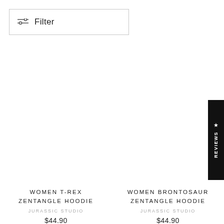Filter
WOMEN T-REX ZENTANGLE HOODIE
JURASSIC STUDIO
$44.90
WOMEN BRONTOSAUR ZENTANGLE HOODIE
JURASSIC STUDIO
$44.90
★ REVIEWS